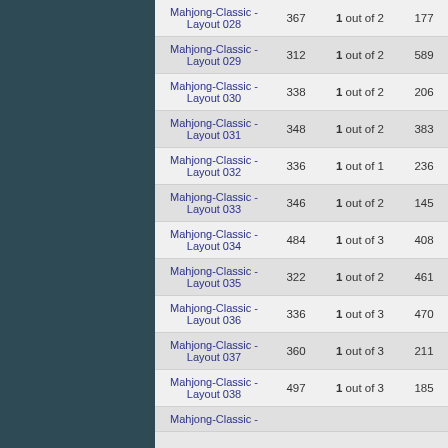| Layout | Score | Rank | Time |  |
| --- | --- | --- | --- | --- |
| Mahjong-Classic - Layout 028 | 367 | 1 out of 2 | 177 | 223 |
| Mahjong-Classic - Layout 029 | 312 | 1 out of 2 | 589 | 223 |
| Mahjong-Classic - Layout 030 | 338 | 1 out of 2 | 206 | 22 |
| Mahjong-Classic - Layout 031 | 348 | 1 out of 2 | 383 | 223 |
| Mahjong-Classic - Layout 032 | 336 | 1 out of 1 | 236 | 22 |
| Mahjong-Classic - Layout 033 | 346 | 1 out of 2 | 145 | 22 |
| Mahjong-Classic - Layout 034 | 484 | 1 out of 3 | 408 | 14 |
| Mahjong-Classic - Layout 035 | 322 | 1 out of 2 | 461 | 22 |
| Mahjong-Classic - Layout 036 | 336 | 1 out of 3 | 470 | 22 |
| Mahjong-Classic - Layout 037 | 360 | 1 out of 3 | 211 | 22 |
| Mahjong-Classic - Layout 038 | 497 | 1 out of 3 | 185 | 222 |
| Mahjong-Classic - |  |  |  |  |